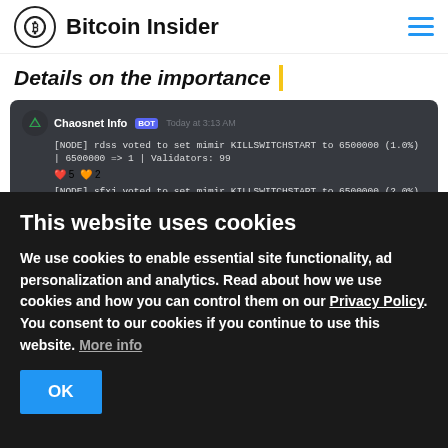Bitcoin Insider
Details on the importance
[Figure (screenshot): Discord screenshot showing Chaosnet Info BOT messages about NODE voting to set mimir KILLSWITCHSTART to 6500000 with various percentages (1.0%, 2.0%, 3.0%, 4.0%) and validator counts of 99]
This website uses cookies
We use cookies to enable essential site functionality, ad personalization and analytics. Read about how we use cookies and how you can control them on our Privacy Policy. You consent to our cookies if you continue to use this website. More info